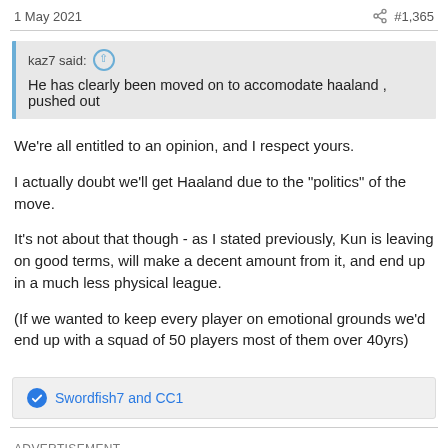1 May 2021   #1,365
kaz7 said: He has clearly been moved on to accomodate haaland , pushed out
We're all entitled to an opinion, and I respect yours.
I actually doubt we'll get Haaland due to the "politics" of the move.
It's not about that though - as I stated previously, Kun is leaving on good terms, will make a decent amount from it, and end up in a much less physical league.
(If we wanted to keep every player on emotional grounds we'd end up with a squad of 50 players most of them over 40yrs)
Swordfish7 and CC1
ADVERTISEMENT